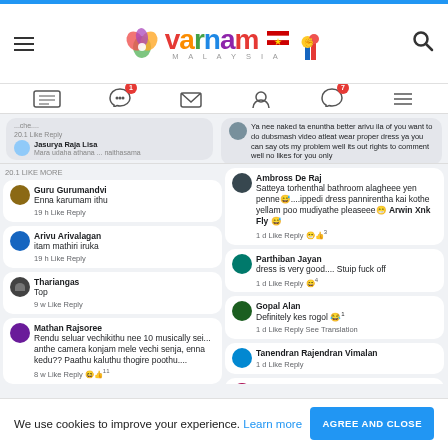[Figure (logo): Varnam Malaysia website logo with colorful flower and text]
[Figure (screenshot): Facebook comments section showing multiple user comments about a video]
We use cookies to improve your experience. Learn more  AGREE AND CLOSE